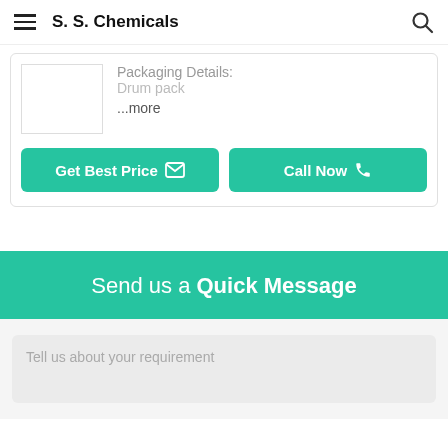S. S. Chemicals
Packaging Details: Drum pack ...more
Get Best Price
Call Now
Send us a Quick Message
Tell us about your requirement